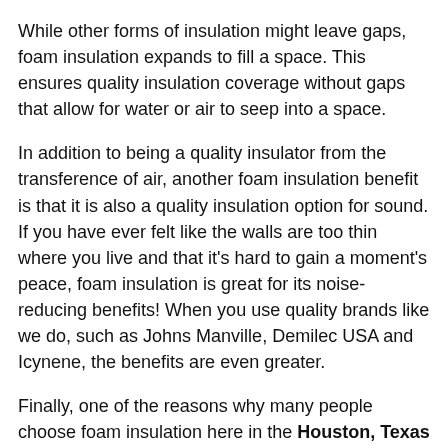While other forms of insulation might leave gaps, foam insulation expands to fill a space. This ensures quality insulation coverage without gaps that allow for water or air to seep into a space.
In addition to being a quality insulator from the transference of air, another foam insulation benefit is that it is also a quality insulation option for sound. If you have ever felt like the walls are too thin where you live and that it’s hard to gain a moment’s peace, foam insulation is great for its noise-reducing benefits! When you use quality brands like we do, such as Johns Manville, Demilec USA and Icynene, the benefits are even greater.
Finally, one of the reasons why many people choose foam insulation here in the Houston, Texas area is because it is impervious to water,